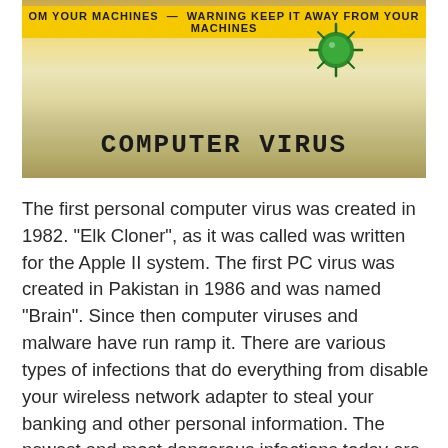[Figure (illustration): Yellow warning tape reading 'OM YOUR MACHINES — WARNING KEEP IT AWAY FROM YOUR MACHINES' over a crumpled paper background with a green spiky virus ball, and large bold text 'COMPUTER VIRUS' below.]
The first personal computer virus was created in 1982. "Elk Cloner", as it was called was written for the Apple II system. The first PC virus was created in Pakistan in 1986 and was named "Brain". Since then computer viruses and malware have run ramp it. There are various types of infections that do everything from disable your wireless network adapter to steal your banking and other personal information. The newest and most dangerous infections today are ransomware viruses. These viruses place a perpetual block or threaten to publish a victim's data unless a ransom is paid. WannaCry is the most well-known of these types of viruses. This infection attacked the world from May 12, 2017 to May 15, 2017 and claimed over 200,000 victims. There were over 180 million ransomware attacks last year.